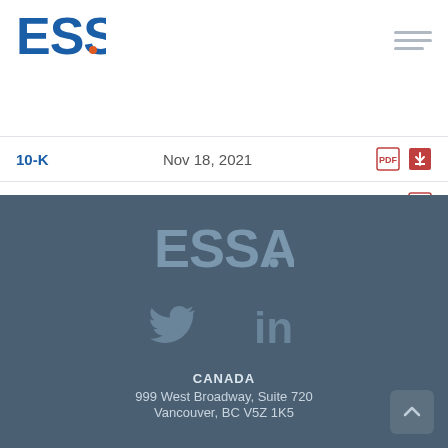[Figure (logo): ESSA logo with blue letters and orange dot]
| Type | Date | Documents |
| --- | --- | --- |
| 10-K | Nov 18, 2021 | [PDF icons] |
| S-8 | Oct 1, 2021 | [PDF icon] |
[Figure (logo): ESSA footer logo in light gray]
[Figure (infographic): Twitter and LinkedIn social media icons in muted blue-gray]
CANADA
999 West Broadway, Suite 720
Vancouver, BC V5Z 1K5